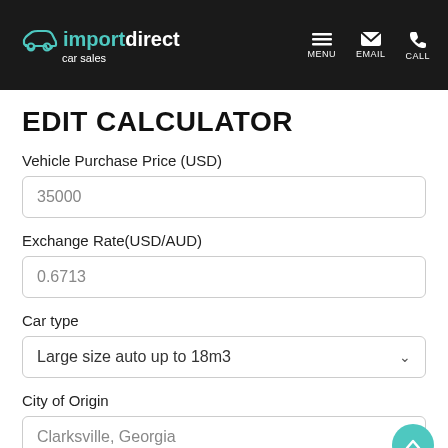import direct car sales — MENU EMAIL CALL
EDIT CALCULATOR
Vehicle Purchase Price (USD)
35000
Exchange Rate(USD/AUD)
0.6713
Car type
Large size auto up to 18m3
City of Origin
Clarksville, Georgia